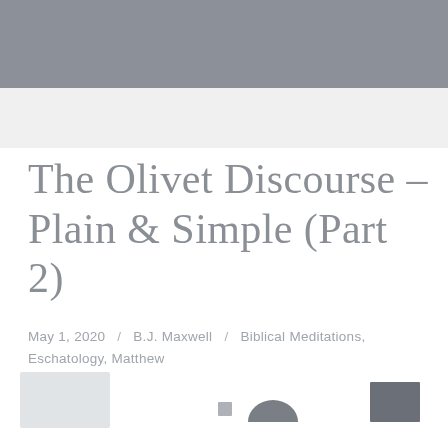[Figure (other): Gray header banner at top of page]
The Olivet Discourse – Plain & Simple (Part 2)
May 1, 2020 / B.J. Maxwell / Biblical Meditations, Eschatology, Matthew
[Figure (other): Partial thumbnail images at bottom of page]